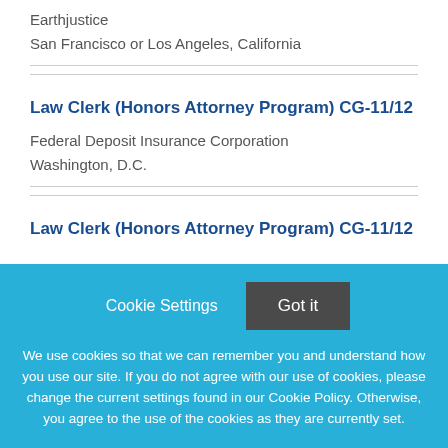Earthjustice
San Francisco or Los Angeles, California
Law Clerk (Honors Attorney Program) CG-11/12
Federal Deposit Insurance Corporation
Washington, D.C.
Law Clerk (Honors Attorney Program) CG-11/12
Cookie Settings  Got it

We use cookies so that we can remember you and understand how you use our site. If you do not agree with our use of cookies, please change the current settings found in our Cookie Policy. Otherwise, you agree to the use of the cookies as they are currently set.